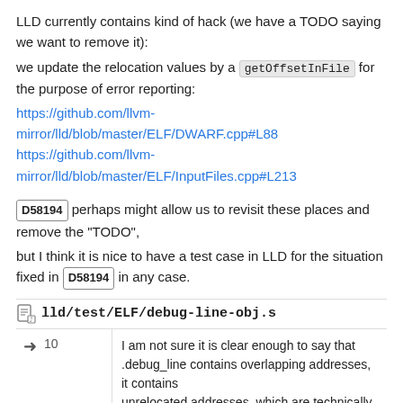LLD currently contains kind of hack (we have a TODO saying we want to remove it):
we update the relocation values by a getOffsetInFile for the purpose of error reporting:
https://github.com/llvm-mirror/lld/blob/master/ELF/DWARF.cpp#L88
https://github.com/llvm-mirror/lld/blob/master/ELF/InputFiles.cpp#L213
D58194 perhaps might allow us to revisit these places and remove the "TODO",
but I think it is nice to have a test case in LLD for the situation fixed in D58194 in any case.
lld/test/ELF/debug-line-obj.s
10  I am not sure it is clear enough to say that .debug_line contains overlapping addresses, it contains unrelocated addresses, which are technically offsets and "overlaps" only because were not